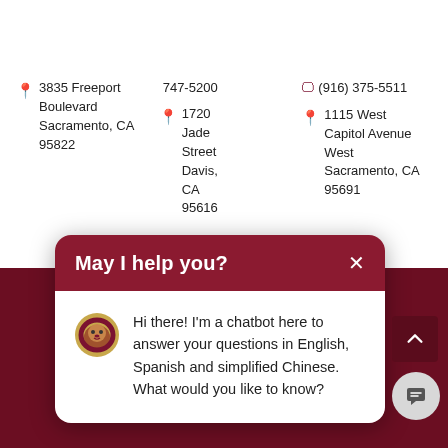3835 Freeport Boulevard Sacramento, CA 95822
747-5200
1720 Jade Street Davis, CA 95616
(916) 375-5511
1115 West Capitol Avenue West Sacramento, CA 95691
[Figure (screenshot): Chatbot popup card with heading 'May I help you?', a lion mascot avatar, and message: Hi there! I'm a chatbot here to answer your questions in English, Spanish and simplified Chinese. What would you like to know?]